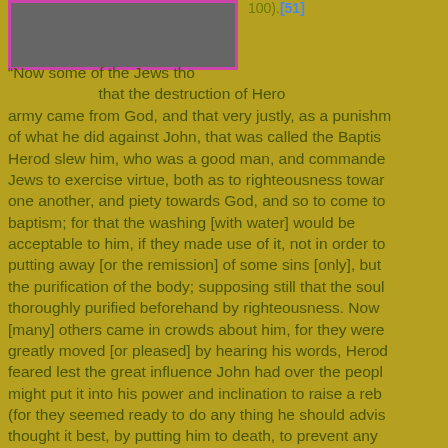[Figure (photo): Gray image placeholder with pink/magenta border in upper left]
100).[51]
"Now some of the Jews thought that the destruction of Herod's army came from God, and that very justly, as a punishment of what he did against John, that was called the Baptist: Herod slew him, who was a good man, and commanded Jews to exercise virtue, both as to righteousness towards one another, and piety towards God, and so to come to baptism; for that the washing [with water] would be acceptable to him, if they made use of it, not in order to putting away [or the remission] of some sins [only], but the purification of the body; supposing still that the soul thoroughly purified beforehand by righteousness. Now [many] others came in crowds about him, for they were greatly moved [or pleased] by hearing his words, Herod feared lest the great influence John had over the people might put it into his power and inclination to raise a rebe (for they seemed ready to do any thing he should advis thought it best, by putting him to death, to prevent any mischief he might cause, and not bring himself into difficulties, by sparing a man who might make him repe when it would be too late. Accordingly he was sent